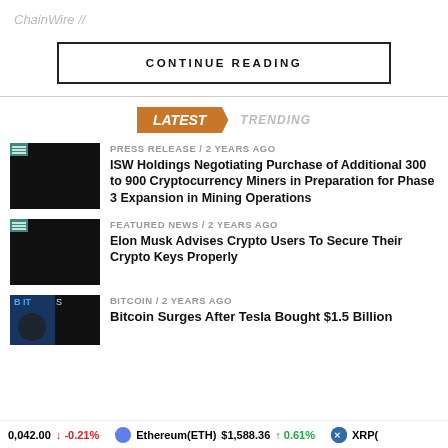ChainWire //
CONTINUE READING
LATEST   TRENDING
PRESS RELEASE / 2 years ago
ISW Holdings Negotiating Purchase of Additional 300 to 900 Cryptocurrency Miners in Preparation for Phase 3 Expansion in Mining Operations
FEATURED NEWS / 2 years ago
Elon Musk Advises Crypto Users To Secure Their Crypto Keys Properly
BITCOIN / 2 years ago
Bitcoin Surges After Tesla Bought $1.5 Billion
0,042.00  ↓ -0.21%   Ethereum(ETH) $1,588.36  ↑ 0.61%   XRP(